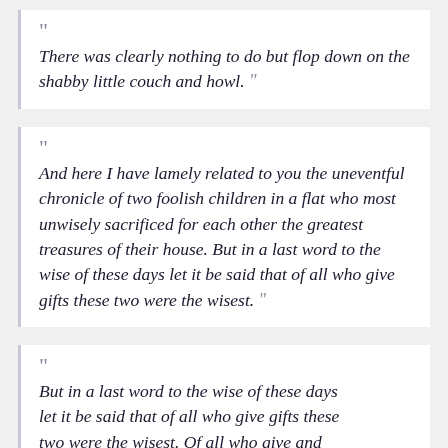“There was clearly nothing to do but flop down on the shabby little couch and howl.”
“And here I have lamely related to you the uneventful chronicle of two foolish children in a flat who most unwisely sacrificed for each other the greatest treasures of their house. But in a last word to the wise of these days let it be said that of all who give gifts these two were the wisest.”
“But in a last word to the wise of these days let it be said that of all who give gifts these two were the wisest. Of all who give and receive gifts, such as they are wisest. Everywhere they are wisest. They are the”